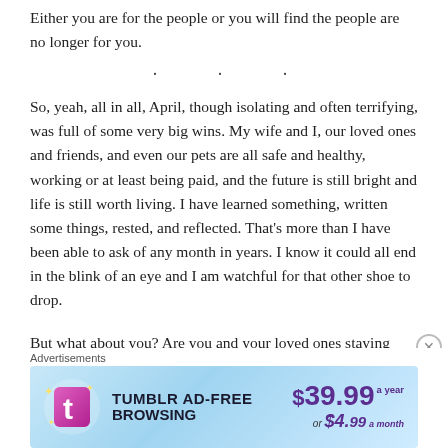Either you are for the people or you will find the people are no longer for you.
· · ·
So, yeah, all in all, April, though isolating and often terrifying, was full of some very big wins. My wife and I, our loved ones and friends, and even our pets are all safe and healthy, working or at least being paid, and the future is still bright and life is still worth living. I have learned something, written some things, rested, and reflected. That's more than I have been able to ask of any month in years. I know it could all end in the blink of an eye and I am watchful for that other shoe to drop.
But what about you? Are you and your loved ones staying
Advertisements
[Figure (infographic): Tumblr Ad-Free Browsing advertisement banner. Shows Tumblr logo, text 'TUMBLR AD-FREE BROWSING', price $39.99 a year or $4.99 a month.]